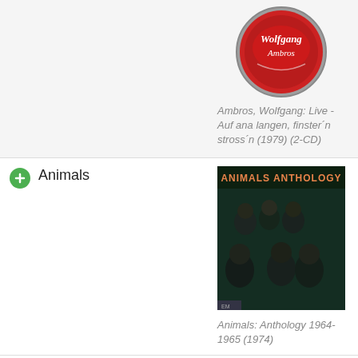[Figure (photo): Bottle cap for Wolfgang Ambros album, red with white cursive text]
Ambros, Wolfgang: Live - Auf ana langen, finster'n stross'n (1979) (2-CD)
Animals
[Figure (photo): Animals Anthology album cover showing band members in dark clothing with orange title text]
Animals: Anthology 1964-1965 (1974)
Animen
[Figure (photo): The Animen album cover partial view, dark background with Follow button overlay]